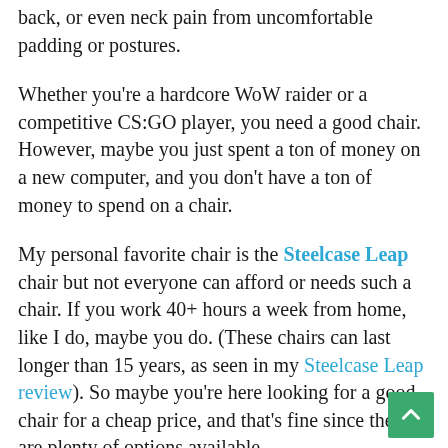back, or even neck pain from uncomfortable padding or postures.
Whether you're a hardcore WoW raider or a competitive CS:GO player, you need a good chair. However, maybe you just spent a ton of money on a new computer, and you don't have a ton of money to spend on a chair.
My personal favorite chair is the Steelcase Leap chair but not everyone can afford or needs such a chair. If you work 40+ hours a week from home, like I do, maybe you do. (These chairs can last longer than 15 years, as seen in my Steelcase Leap review). So maybe you're here looking for a good chair for a cheap price, and that's fine since there are plenty of options available.
First, however, you need to decide which kind of style you want. Do you want a racing-styled chair? Do you want an office chair? Racing styled